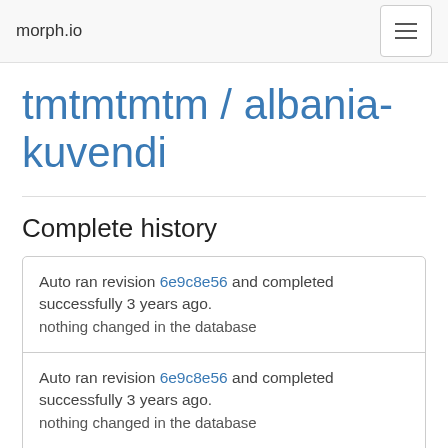morph.io
tmtmtmtm / albania-kuvendi
Complete history
Auto ran revision 6e9c8e56 and completed successfully 3 years ago.
nothing changed in the database
Auto ran revision 6e9c8e56 and completed successfully 3 years ago.
nothing changed in the database
Auto ran revision 6e9c8e56 and completed successfully 3 years ago.
nothing changed in the database